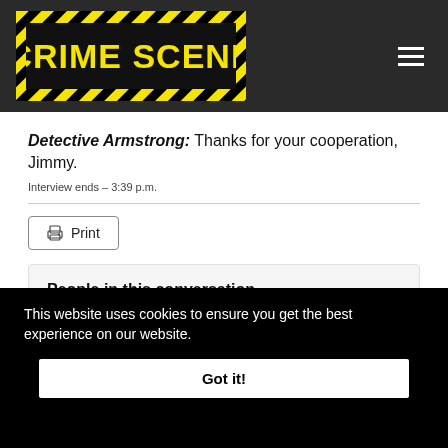[Figure (logo): Crime Scene website logo — yellow block text on black background with hazard stripes, on a dark header bar with hamburger menu icon]
Detective Armstrong: Thanks for your cooperation, Jimmy.
Interview ends – 3:39 p.m.
Print
People in this conversation
This website uses cookies to ensure you get the best experience on our website.
Got it!